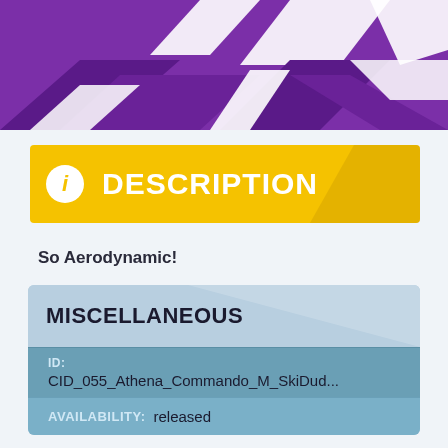[Figure (illustration): Purple banner header with white arrow/lightning bolt shapes decorating it]
DESCRIPTION
So Aerodynamic!
MISCELLANEOUS
| ID: | CID_055_Athena_Commando_M_SkiDud... |
| AVAILABILITY: | released |